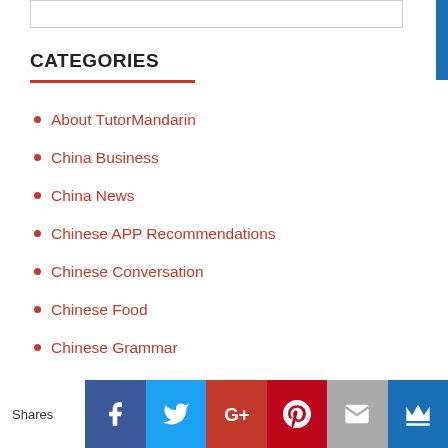CATEGORIES
About TutorMandarin
China Business
China News
Chinese APP Recommendations
Chinese Conversation
Chinese Food
Chinese Grammar
Chinese Language Learning
Shares